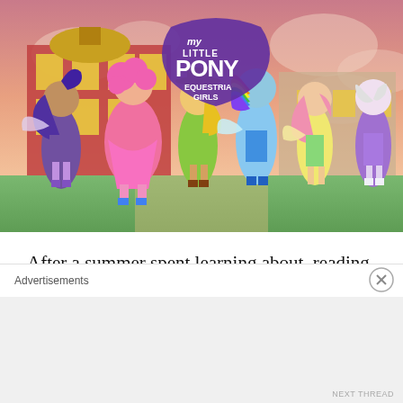[Figure (illustration): My Little Pony Equestria Girls promotional image showing six humanized pony characters (Twilight Sparkle, Pinkie Pie, Applejack, Rainbow Dash, Fluttershy, Rarity) standing in front of a school building with the My Little Pony Equestria Girls logo at the top against a pink sunset sky.]
After a summer spent learning about, reading about, and writing about it, I finally tonight sat down and watched My Little Pony: Friendship is
Advertisements
NEXT THREAD